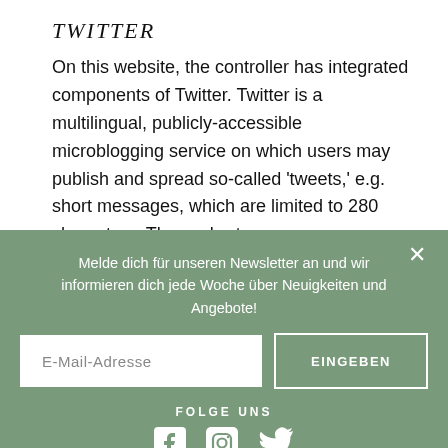TWITTER
On this website, the controller has integrated components of Twitter. Twitter is a multilingual, publicly-accessible microblogging service on which users may publish and spread so-called 'tweets,' e.g. short messages, which are limited to 280 characters. These short messages are available for everyone, including those who are not logged on to Twitter. The tweets are also displayed
Melde dich für unseren Newsletter an und wir informieren dich jede Woche über Neuigkeiten und Angebote!
E-Mail-Adresse
EINGEBEN
FOLGE UNS